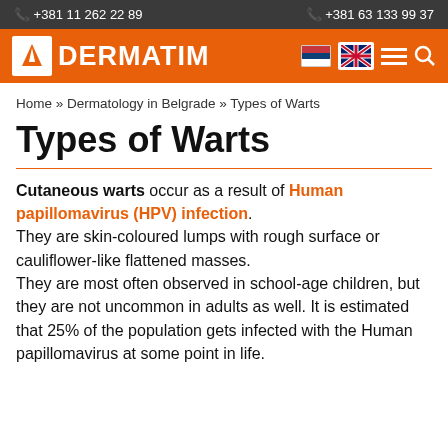+381 11 262 22 89   +381 63 133 99 37
[Figure (logo): Dermatim logo with orange bird icon and DERMATIM text, navigation flags and icons on orange bar]
Home » Dermatology in Belgrade » Types of Warts
Types of Warts
Cutaneous warts occur as a result of Human papillomavirus (HPV) infection. They are skin-coloured lumps with rough surface or cauliflower-like flattened masses. They are most often observed in school-age children, but they are not uncommon in adults as well. It is estimated that 25% of the population gets infected with the Human papillomavirus at some point in life.